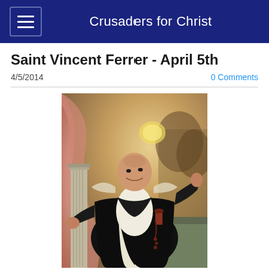Crusaders for Christ
Saint Vincent Ferrer - April 5th
4/5/2014
0 Comments
[Figure (photo): Classical oil painting of Saint Vincent Ferrer, a Dominican friar dressed in black habit and white robes, with arms raised, holding a rosary, with a column and draped fabric in background]